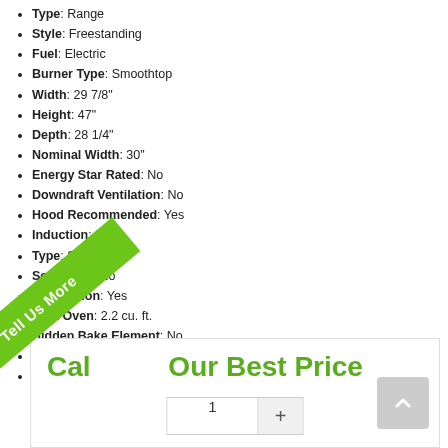Type: Range
Style: Freestanding
Fuel: Electric
Burner Type: Smoothtop
Width: 29 7/8"
Height: 47"
Depth: 28 1/4"
Nominal Width: 30"
Energy Star Rated: No
Downdraft Ventilation: No
Hood Recommended: Yes
Induction: No
Type: Smoothtop
Self Clean: No
Convection: Yes
First Oven: 2.2 cu. ft.
Hidden Bake Element: No
Sabbath Mode: Yes
WiFi Connected: No
...ore
Call for Our Best Price